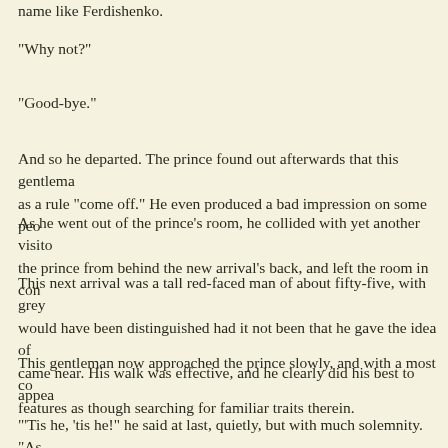name like Ferdishenko.
"Why not?"
"Good-bye."
And so he departed. The prince found out afterwards that this gentlema as a rule "come off." He even produced a bad impression on some peo
As he went out of the prince's room, he collided with yet another visito the prince from behind the new arrival's back, and left the room in con
This next arrival was a tall red-faced man of about fifty-five, with grey would have been distinguished had it not been that he gave the idea of came near. His walk was effective, and he clearly did his best to appea
This gentleman now approached the prince slowly, and with a most co features as though searching for familiar traits therein.
"'Tis he, 'tis he!" he said at last, quietly, but with much solemnity. "As and, oh. I how it reminded me of the irrevocable past—Prince Muishk.
"Exactly so."
"General Ivolgin—retired and unfortunate. May I ask your Christian a
"Lef Nicolaievitch."
"So, so—the son of my old, I may say my childhood's friend, Nicolai